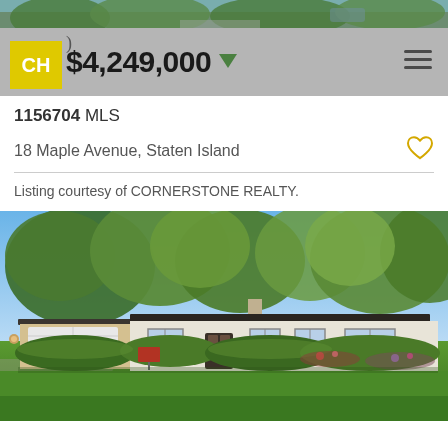[Figure (photo): Top portion of an outdoor photo, trees and driveway visible]
$4,249,000
1156704 MLS
18 Maple Avenue, Staten Island
Listing courtesy of CORNERSTONE REALTY.
[Figure (photo): Exterior photo of a large single-story white ranch-style home with attached garage, circular driveway, manicured hedges and green lawn, surrounded by mature trees under a clear blue sky.]